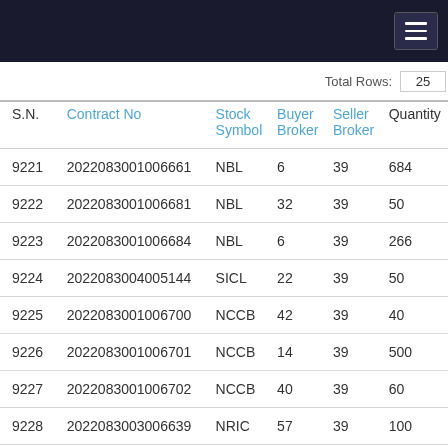Total Rows: 25
| S.N. | Contract No | Stock Symbol | Buyer Broker | Seller Broker | Quantity |
| --- | --- | --- | --- | --- | --- |
| 9221 | 2022083001006661 | NBL | 6 | 39 | 684 |
| 9222 | 2022083001006681 | NBL | 32 | 39 | 50 |
| 9223 | 2022083001006684 | NBL | 6 | 39 | 266 |
| 9224 | 2022083004005144 | SICL | 22 | 39 | 50 |
| 9225 | 2022083001006700 | NCCB | 42 | 39 | 40 |
| 9226 | 2022083001006701 | NCCB | 14 | 39 | 500 |
| 9227 | 2022083001006702 | NCCB | 40 | 39 | 60 |
| 9228 | 2022083003006639 | NRIC | 57 | 39 | 100 |
| 9229 | 2022083005001123 | JBLB | 58 | 39 | 20 |